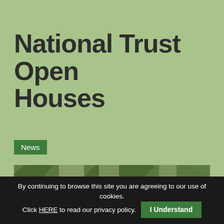National Trust Open Houses
News
[Figure (photo): Colourful bunting flags hanging between trees in a woodland setting, with a National Trust logo visible on a flag on the right side.]
By continuing to browse this site you are agreeing to our use of cookies. Click HERE to read our privacy policy. I Understand